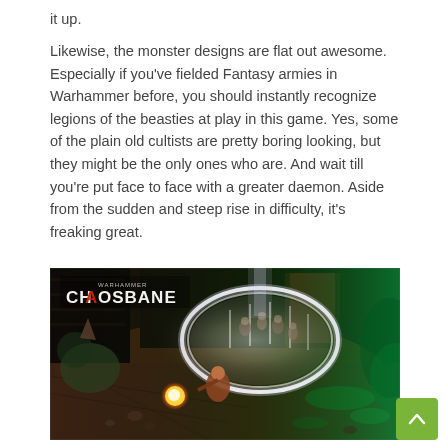it up.
Likewise, the monster designs are flat out awesome. Especially if you've fielded Fantasy armies in Warhammer before, you should instantly recognize legions of the beasties at play in this game. Yes, some of the plain old cultists are pretty boring looking, but they might be the only ones who are. And wait till you're put face to face with a greater daemon. Aside from the sudden and steep rise in difficulty, it's freaking great.
[Figure (screenshot): Screenshot from Warhammer Chaosbane showing an action RPG top-down view of a character casting a large circular AOE spell with glowing white ring, enemies inside, dark dungeon environment with green lighting on right side. Warhammer Chaosbane logo visible top-left.]